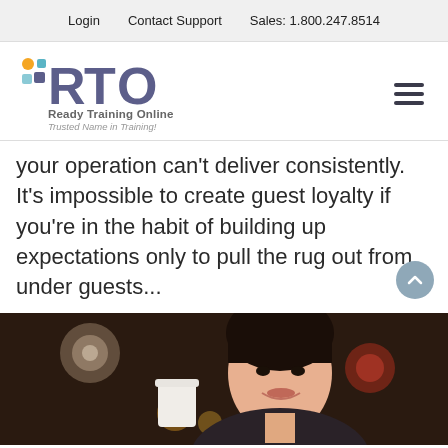Login   Contact Support   Sales: 1.800.247.8514
[Figure (logo): Ready Training Online (RTO) logo with colored dots and squares, tagline: Trusted Name in Training!]
your operation can't deliver consistently. It's impossible to create guest loyalty if you're in the habit of building up expectations only to pull the rug out from under guests...
[Figure (photo): A smiling woman (waitress/server) with dark hair pulled back, in a restaurant setting with blurred bokeh lights in the background]